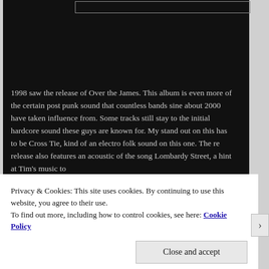[Figure (screenshot): Dark background section of a webpage with a partially visible search/input bar at the top]
1998 saw the release of Over the James. This album is even more of the certain post punk sound that countless bands sine about 2000 have taken influence from. Some tracks still stay to the initial hardcore sound these guys are known for. My stand out on this has to be Cross Tie, kind of an electro folk sound on this one. The re release also features an acoustic of the song Lombardy Street, a hint at Tim's music to
Privacy & Cookies: This site uses cookies. By continuing to use this website, you agree to their use.
To find out more, including how to control cookies, see here: Cookie Policy
Close and accept